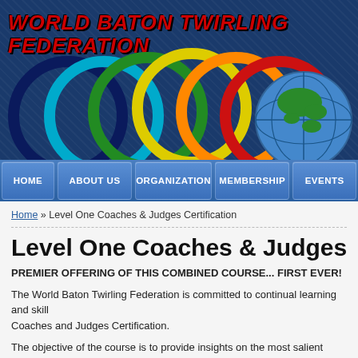[Figure (logo): World Baton Twirling Federation header banner with colorful baton rings (dark blue, teal, green, yellow, orange, red) and a globe graphic, with red italic text 'WORLD BATON TWIRLING FEDERATION' on a dark blue textured background.]
HOME | ABOUT US | ORGANIZATION | MEMBERSHIP | EVENTS
Home » Level One Coaches & Judges Certification
Level One Coaches & Judges Cert
PREMIER OFFERING OF THIS COMBINED COURSE... FIRST EVER!
The World Baton Twirling Federation is committed to continual learning and skill... Coaches and Judges Certification.
The objective of the course is to provide insights on the most salient issues faci...
The first day of the course will dive deep into the mechanics and delivery of key... day will address the B level of solo, artistic twirl and teams for coaches and judg...